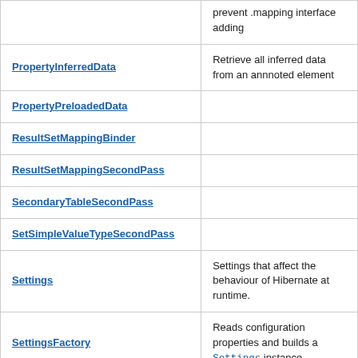| Class | Description |
| --- | --- |
|  | prevent .mapping interface adding |
| PropertyInferredData | Retrieve all inferred data from an annnoted element |
| PropertyPreloadedData |  |
| ResultSetMappingBinder |  |
| ResultSetMappingSecondPass |  |
| SecondaryTableSecondPass |  |
| SetSimpleValueTypeSecondPass |  |
| Settings | Settings that affect the behaviour of Hibernate at runtime. |
| SettingsFactory | Reads configuration properties and builds a Settings instance. |
| ToOneBinder | Work in progress The goal of this class is to aggregate all operations related to ToOne binding operations |